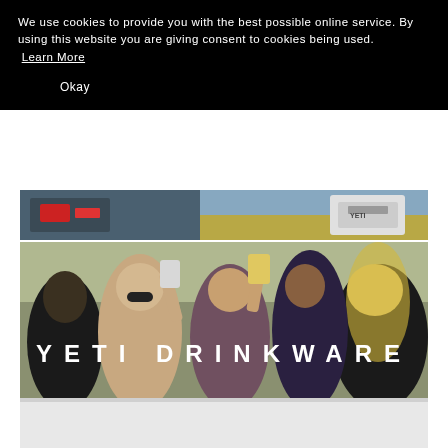We use cookies to provide you with the best possible online service. By using this website you are giving consent to cookies being used. Learn More
Okay
[Figure (photo): Top strip showing rear of a car and a YETI cooler in an outdoor field setting]
[Figure (photo): Group of young people outdoors toasting drinks, with YETI DRINKWARE text overlay in white capital letters]
[Figure (photo): Bottom grey bar, partially visible product image]